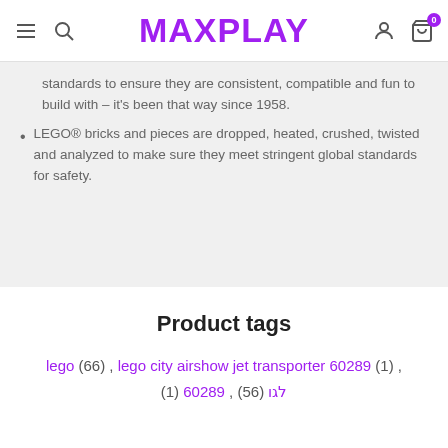MAXPLAY
standards to ensure they are consistent, compatible and fun to build with – it's been that way since 1958.
LEGO® bricks and pieces are dropped, heated, crushed, twisted and analyzed to make sure they meet stringent global standards for safety.
Product tags
lego (66) , lego city airshow jet transporter 60289 (1) , לגו (56) , 60289 (1)